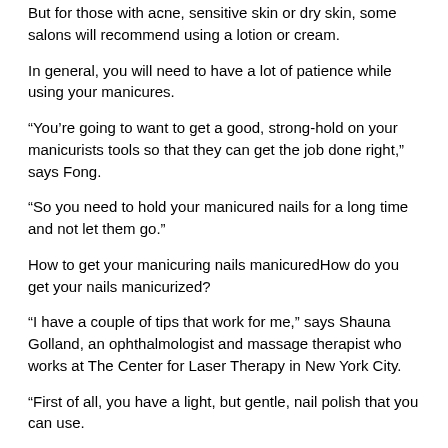But for those with acne, sensitive skin or dry skin, some salons will recommend using a lotion or cream.
In general, you will need to have a lot of patience while using your manicures.
“You’re going to want to get a good, strong-hold on your manicurists tools so that they can get the job done right,” says Fong.
“So you need to hold your manicured nails for a long time and not let them go.”
How to get your manicuring nails manicuredHow do you get your nails manicurized?
“I have a couple of tips that work for me,” says Shauna Golland, an ophthalmologist and massage therapist who works at The Center for Laser Therapy in New York City.
“First of all, you have a light, but gentle, nail polish that you can use.